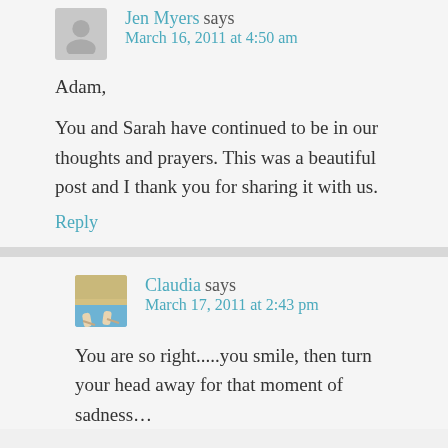Jen Myers says
March 16, 2011 at 4:50 am
Adam,
You and Sarah have continued to be in our thoughts and prayers. This was a beautiful post and I thank you for sharing it with us.
Reply
[Figure (photo): Avatar photo of Claudia showing beach scene with feet in sand]
Claudia says
March 17, 2011 at 2:43 pm
You are so right.....you smile, then turn your head away for that moment of sadness…